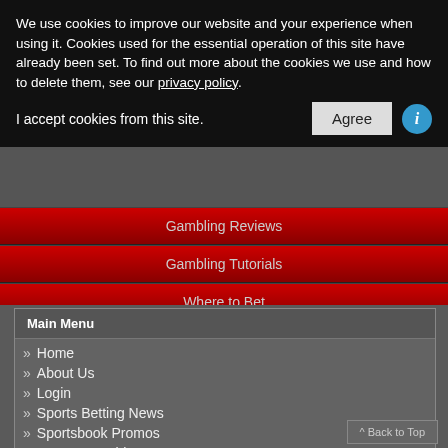We use cookies to improve our website and your experience when using it. Cookies used for the essential operation of this site have already been set. To find out more about the cookies we use and how to delete them, see our privacy policy.
I accept cookies from this site. [Agree button] [i icon]
Gambling Reviews
Gambling Tutorials
Where to Bet
Sports Betting News, Reviews & More
Main Menu
Home
About Us
Login
Sports Betting News
Sportsbook Promos
Latest Hot Girlz
Gambling Reviews